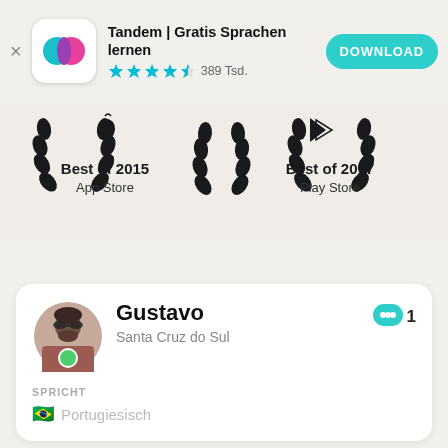[Figure (screenshot): Tandem app banner with icon, name, star rating, and download button]
[Figure (infographic): Best of 2015 App Store and Best of 2017 Play Store awards with laurel wreaths]
[Figure (screenshot): User profile card for Gustavo from Santa Cruz do Sul with online indicator and language section showing Portugiesisch]